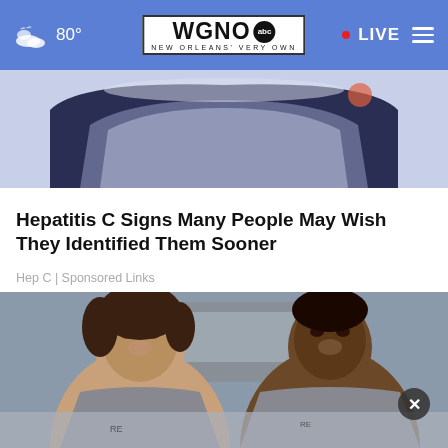WGNO abc NEW ORLEANS' VERY OWN | 80° | LIVE
[Figure (photo): Partial view of a vehicle roof/top, dark navy and white colors, indoor or outdoor setting]
Hepatitis C Signs Many People May Wish They Identified Them Sooner
Hep C | Sponsored Links
[Figure (photo): Two smiling women in matching gray uniforms standing in front of a vehicle outdoors]